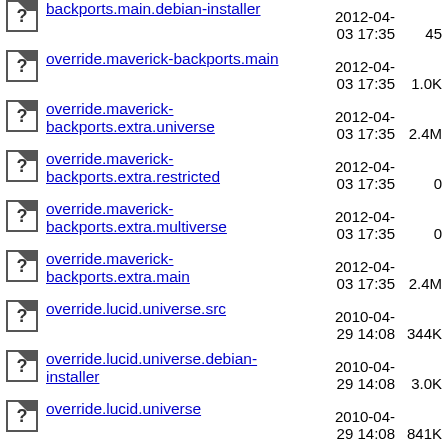backports.main.debian-installer  2012-04-03 17:35  45
override.maverick-backports.main  2012-04-03 17:35  1.0K
override.maverick-backports.extra.universe  2012-04-03 17:35  2.4M
override.maverick-backports.extra.restricted  2012-04-03 17:35  0
override.maverick-backports.extra.multiverse  2012-04-03 17:35  0
override.maverick-backports.extra.main  2012-04-03 17:35  2.4M
override.lucid.universe.src  2010-04-29 14:08  344K
override.lucid.universe.debian-installer  2010-04-29 14:08  3.0K
override.lucid.universe  2010-04-29 14:08  841K
override.lucid.restricted.src  2010-04-29 14:08  334
override.lucid.restricted.debian-installer  2010-04-29 14:07  0
override.lucid.restricted  2010-04-29 14:08  1.2K